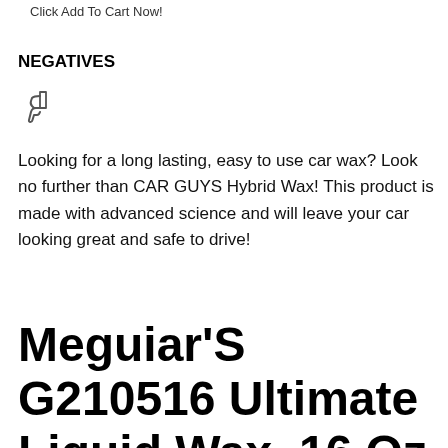Click Add To Cart Now!
NEGATIVES
[Figure (illustration): Thumbs down icon (dislike symbol)]
Looking for a long lasting, easy to use car wax? Look no further than CAR GUYS Hybrid Wax! This product is made with advanced science and will leave your car looking great and safe to drive!
Meguiar'S G210516 Ultimate Liquid Wax, 16 Oz